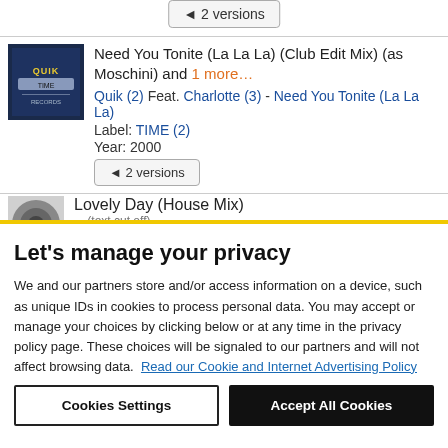◄ 2 versions (button, top)
[Figure (illustration): Album cover thumbnail for Quik - TIME label record, small square image with dark blue/black background and TIME stamp]
Need You Tonite (La La La) (Club Edit Mix) (as Moschini) and 1 more…
Quik (2) Feat. Charlotte (3) - Need You Tonite (La La La)
Label: TIME (2)
Year: 2000
◄ 2 versions
[Figure (illustration): Generic vinyl record thumbnail, grey circular disc]
Lovely Day (House Mix)
Let's manage your privacy
We and our partners store and/or access information on a device, such as unique IDs in cookies to process personal data. You may accept or manage your choices by clicking below or at any time in the privacy policy page. These choices will be signaled to our partners and will not affect browsing data. Read our Cookie and Internet Advertising Policy
Cookies Settings
Accept All Cookies